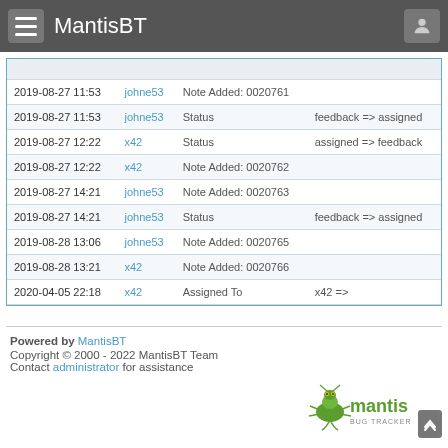MantisBT
| Date | Username | Field | Change |
| --- | --- | --- | --- |
| 2019-08-27 11:53 | johne53 | Note Added: 0020761 |  |
| 2019-08-27 11:53 | johne53 | Status | feedback => assigned |
| 2019-08-27 12:22 | x42 | Status | assigned => feedback |
| 2019-08-27 12:22 | x42 | Note Added: 0020762 |  |
| 2019-08-27 14:21 | johne53 | Note Added: 0020763 |  |
| 2019-08-27 14:21 | johne53 | Status | feedback => assigned |
| 2019-08-28 13:06 | johne53 | Note Added: 0020765 |  |
| 2019-08-28 13:21 | x42 | Note Added: 0020766 |  |
| 2020-04-05 22:18 | x42 | Assigned To | x42 => |
Powered by MantisBT
Copyright © 2000 - 2022 MantisBT Team
Contact administrator for assistance
[Figure (logo): Mantis Bug Tracker logo with green mantis insect graphic and 'mantis BUG TRACKER' text]